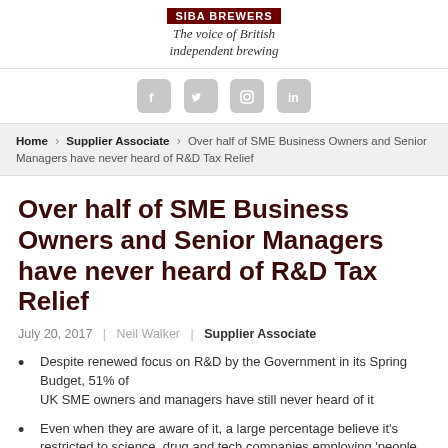SIBA BREWERS — The voice of British independent brewing
[Figure (other): Social media icons: Facebook, Twitter, Instagram, LinkedIn]
Home > Supplier Associate > Over half of SME Business Owners and Senior Managers have never heard of R&D Tax Relief
Over half of SME Business Owners and Senior Managers have never heard of R&D Tax Relief
July 20, 2017 | Neil Walker | Supplier Associate
Despite renewed focus on R&D by the Government in its Spring Budget, 51% of UK SME owners and managers have still never heard of it
Even when they are aware of it, a large percentage believe it's restricted to science, drug and tech companies employing 'people